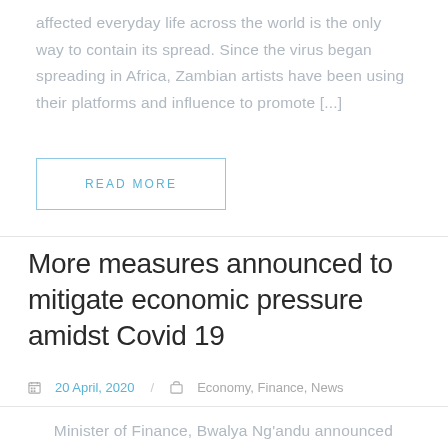affected everyday life across the world is the only way to contain its spread. Since the virus began spreading in Africa, Zambian artists have been using their platforms and influence to promote [...]
READ MORE
More measures announced to mitigate economic pressure amidst Covid 19
20 April, 2020 / Economy, Finance, News
Minister of Finance, Bwalya Ng'andu announced additional financial measures today to help cushion the